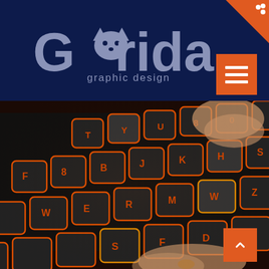[Figure (logo): Grida graphic design logo with fox icon on dark navy background]
[Figure (photo): Close-up photo of a backlit gaming keyboard with red/orange illuminated keys, hands typing]
[Figure (infographic): Orange menu button (hamburger icon) in top right area of header]
[Figure (infographic): Orange scroll-to-top button with upward chevron in bottom right corner]